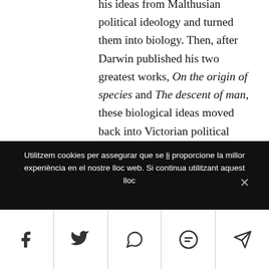his ideas from Malthusian political ideology and turned them into biology. Then, after Darwin published his two greatest works, On the origin of species and The descent of man, these biological ideas moved back into Victorian political economy in the form of social Darwinism. Yet this latter movement included much more than just Charles Darwin's concepts – it included all the transformative themes of the era, as well as the important views of other
Utilitzem cookies per assegurar que se li proporcione la millor experiència en el nostre lloc web. Si continua utilitzant aquest lloc assumem que accepta el servici.
[Figure (infographic): Social sharing bar with five buttons: Facebook (f), Twitter (bird), WhatsApp, SMS, and direct message/Telegram icons]